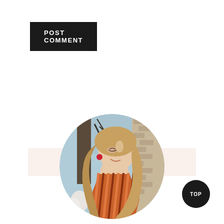POST COMMENT
HELLO, THERE!
[Figure (photo): Circular profile photo of a young blonde woman smiling, wearing a striped orange/rust wrap top and red earrings, with an outdoor background]
TOP